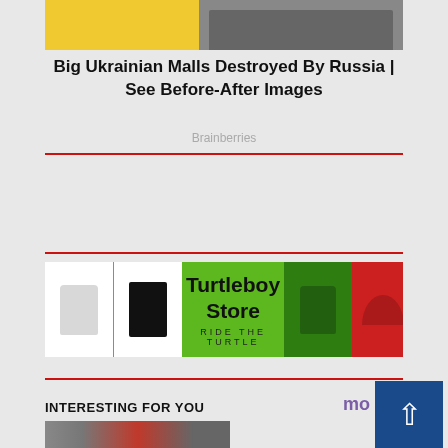[Figure (photo): Top partial image showing yellow background on left and people standing on rubble on right]
Big Ukrainian Malls Destroyed By Russia | See Before-After Images
Brainberries
[Figure (photo): Turtleboy Store banner advertisement with green background showing t-shirts, hoodies and hats. Text: Turtleboy Store RIDE THE TURTLE]
INTERESTING FOR YOU
[Figure (photo): Bottom partial image strip showing colorful scene]